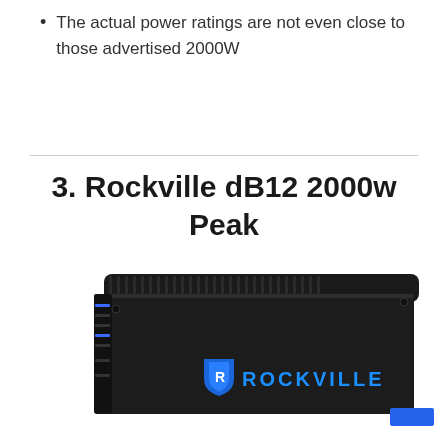The actual power ratings are not even close to those advertised 2000W
3. Rockville dB12 2000w Peak
[Figure (photo): Photo of a Rockville dB12 car amplifier, black rectangular device with blue Rockville logo on the face, showing heat sink fins along the top edge and control panel on the left side.]